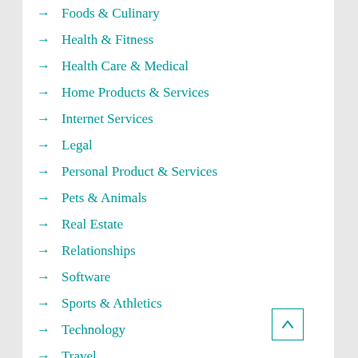Foods & Culinary
Health & Fitness
Health Care & Medical
Home Products & Services
Internet Services
Legal
Personal Product & Services
Pets & Animals
Real Estate
Relationships
Software
Sports & Athletics
Technology
Travel
Uncategorized